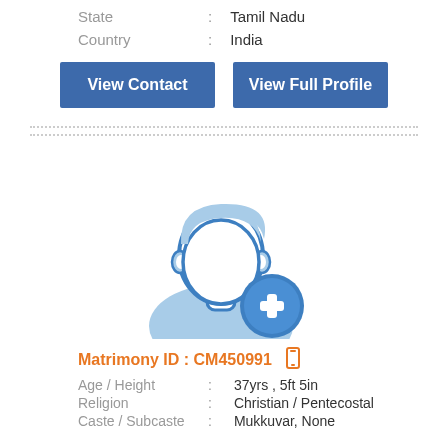State : Tamil Nadu
Country : India
View Contact
View Full Profile
[Figure (illustration): Generic male silhouette avatar icon in light blue with a blue plus sign badge at bottom right]
Matrimony ID : CM450991
Age / Height : 37yrs , 5ft 5in
Religion : Christian / Pentecostal
Caste / Subcaste : Mukkuvar, None